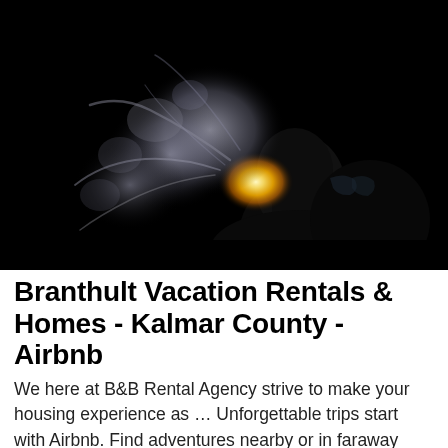[Figure (photo): Dark photograph of a person's silhouette against a black background, exhaling smoke or vapor with glowing light visible near mouth area and wispy smoke trails spreading to the left.]
Branthult Vacation Rentals & Homes - Kalmar County - Airbnb
We here at B&B Rental Agency strive to make your housing experience as … Unforgettable trips start with Airbnb. Find adventures nearby or in faraway